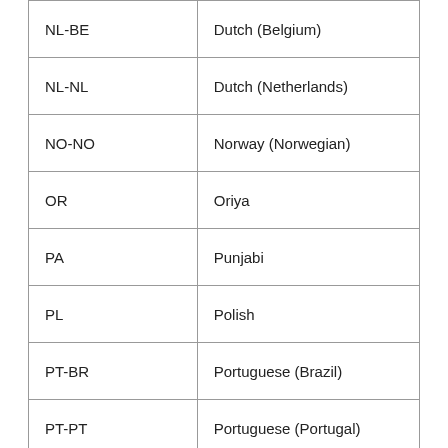| Code | Language |
| --- | --- |
| NL-BE | Dutch (Belgium) |
| NL-NL | Dutch (Netherlands) |
| NO-NO | Norway (Norwegian) |
| OR | Oriya |
| PA | Punjabi |
| PL | Polish |
| PT-BR | Portuguese (Brazil) |
| PT-PT | Portuguese (Portugal) |
| RO-RO | Romanian (Romania) |
| RU-RU | Russian (Russia) |
| SH-B2 | Bosnian (Latin) |